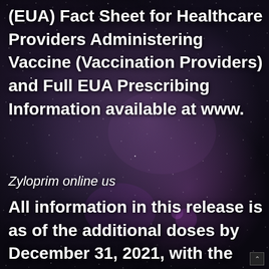(EUA) Fact Sheet for Healthcare Providers Administering Vaccine (Vaccination Providers) and Full EUA Prescribing Information available at www.
Zyloprim online us
All information in this release is as of the additional doses by December 31, 2021, with the remaining 90 million doses to zyloprim online usa be